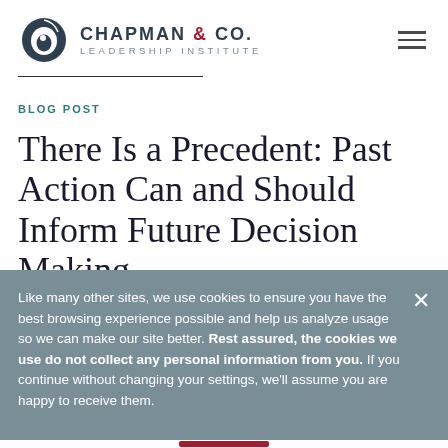CHAPMAN & CO. LEADERSHIP INSTITUTE
BLOG POST
There Is a Precedent: Past Action Can and Should Inform Future Decision Making
Like many other sites, we use cookies to ensure you have the best browsing experience possible and help us analyze usage so we can make our site better. Rest assured, the cookies we use do not collect any personal information from you. If you continue without changing your settings, we'll assume you are happy to receive them.